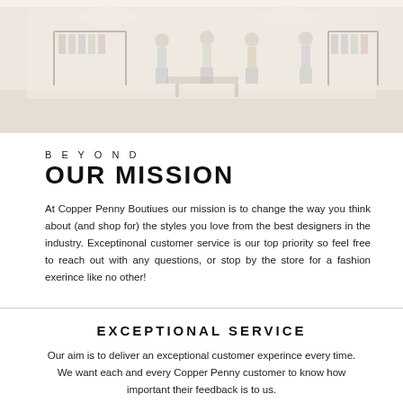[Figure (photo): Interior photo of a clothing boutique store with mannequins displaying outfits, clothing racks, and warm lighting. Image appears faded/light toned.]
BEYOND
OUR MISSION
At Copper Penny Boutiues our mission is to change the way you think about (and shop for) the styles you love from the best designers in the industry. Exceptinonal customer service is our top priority so feel free to reach out with any questions, or stop by the store for a fashion exerince like no other!
EXCEPTIONAL SERVICE
Our aim is to deliver an exceptional customer experince every time. We want each and every Copper Penny customer to know how important their feedback is to us.